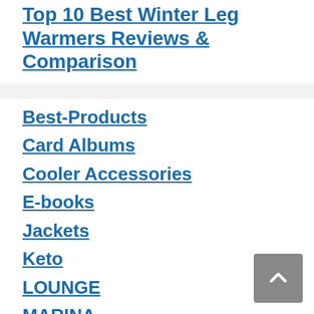Top 10 Best Winter Leg Warmers Reviews & Comparison
Best-Products
Card Albums
Cooler Accessories
E-books
Jackets
Keto
LOUNGE
MARINA
MOTEL